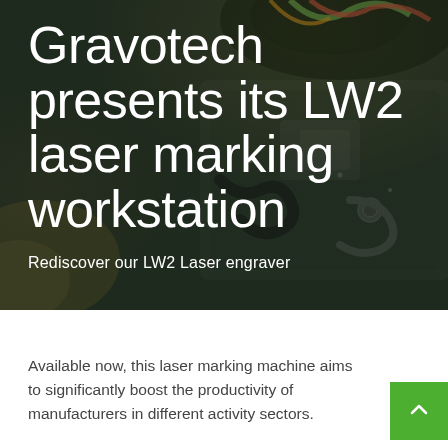[Figure (photo): Close-up photograph of a laser marking machine (LW2 workstation) showing mechanical components, cables, and metal parts with a dark overlay]
Gravotech presents its LW2 laser marking workstation
Rediscover our LW2 Laser engraver
Available now, this laser marking machine aims to significantly boost the productivity of manufacturers in different activity sectors.